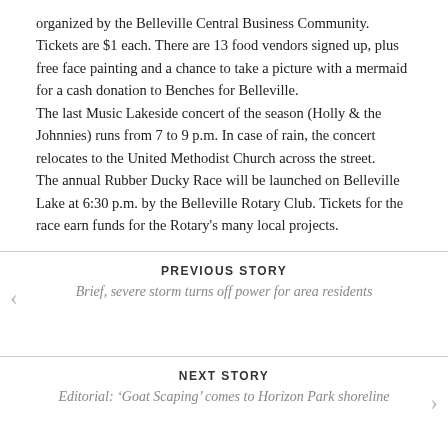organized by the Belleville Central Business Community. Tickets are $1 each. There are 13 food vendors signed up, plus free face painting and a chance to take a picture with a mermaid for a cash donation to Benches for Belleville.
The last Music Lakeside concert of the season (Holly & the Johnnies) runs from 7 to 9 p.m. In case of rain, the concert relocates to the United Methodist Church across the street.
The annual Rubber Ducky Race will be launched on Belleville Lake at 6:30 p.m. by the Belleville Rotary Club. Tickets for the race earn funds for the Rotary's many local projects.
PREVIOUS STORY
Brief, severe storm turns off power for area residents
NEXT STORY
Editorial: 'Goat Scaping' comes to Horizon Park shoreline
LEAVE A COMMENT